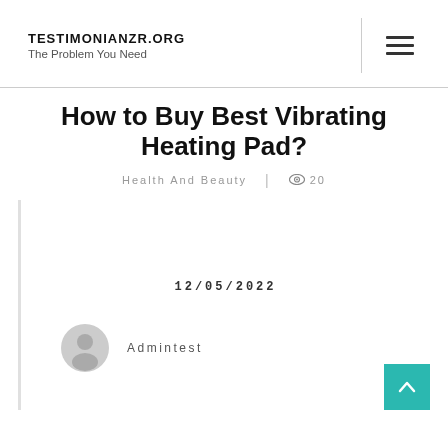TESTIMONIANZR.ORG
The Problem You Need
How to Buy Best Vibrating Heating Pad?
Health And Beauty | 20
12/05/2022
Admintest